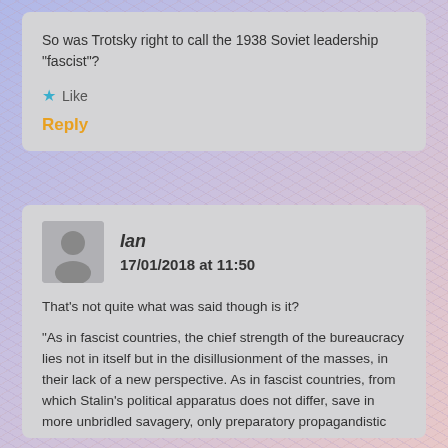So was Trotsky right to call the 1938 Soviet leadership “fascist”?
★ Like
Reply
Ian
17/01/2018 at 11:50
That’s not quite what was said though is it?
“As in fascist countries, the chief strength of the bureaucracy lies not in itself but in the disillusionment of the masses, in their lack of a new perspective. As in fascist countries, from which Stalin’s political apparatus does not differ, save in more unbridled savagery, only preparatory propagandistic work is possible today in the USSR.”